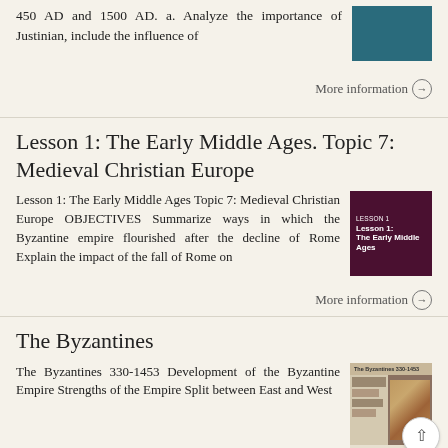450 AD and 1500 AD. a. Analyze the importance of Justinian, include the influence of
More information →
Lesson 1: The Early Middle Ages. Topic 7: Medieval Christian Europe
Lesson 1: The Early Middle Ages Topic 7: Medieval Christian Europe OBJECTIVES Summarize ways in which the Byzantine empire flourished after the decline of Rome Explain the impact of the fall of Rome on
[Figure (screenshot): Thumbnail of lesson slide with dark maroon background showing 'Lesson 1: The Early Middle Ages' text]
More information →
The Byzantines
The Byzantines 330-1453 Development of the Byzantine Empire Strengths of the Empire Split between East and West
[Figure (screenshot): Thumbnail of The Byzantines 330-1453 slideshow with historical imagery]